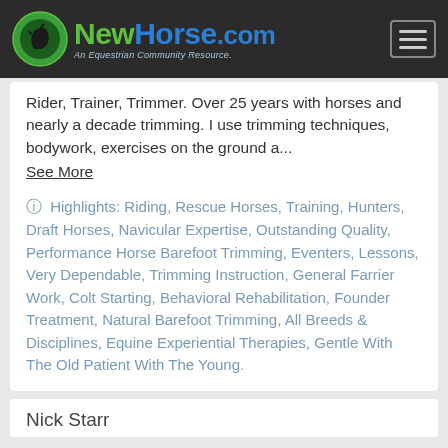NewHorse.com — An Equestrian Community Resource.
Rider, Trainer, Trimmer. Over 25 years with horses and nearly a decade trimming. I use trimming techniques, bodywork, exercises on the ground a...
See More
Highlights: Riding, Rescue Horses, Training, Hunters, Draft Horses, Navicular Expertise, Outstanding Quality, Performance Horse Barefoot Trimming, Eventers, Lessons, Very Dependable, Trimming Instruction, General Farrier Work, Colt Starting, Behavioral Rehabilitation, Founder Treatment, Natural Barefoot Trimming, All Breeds & Disciplines, Equine Experiential Therapies, Gentle With The Old Patient With The Young.
Nick Starr